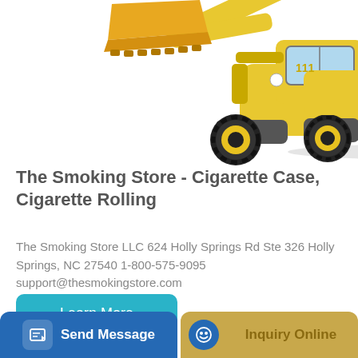[Figure (photo): Yellow and black front-end wheel loader / construction vehicle with raised bucket arm, photographed on white background]
The Smoking Store - Cigarette Case, Cigarette Rolling
The Smoking Store LLC 624 Holly Springs Rd Ste 326 Holly Springs, NC 27540 1-800-575-9095 support@thesmokingstore.com
Learn More
Send Message
Inquiry Online